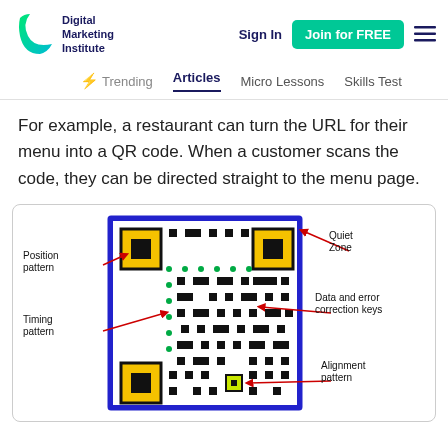Digital Marketing Institute | Sign In | Join for FREE
Trending | Articles | Micro Lessons | Skills Test
For example, a restaurant can turn the URL for their menu into a QR code. When a customer scans the code, they can be directed straight to the menu page.
[Figure (illustration): Diagram of a QR code with labeled parts: Position pattern (top-left yellow square), Quiet Zone (top-right area), Timing pattern (alternating row), Data and error correction keys (central area), Alignment pattern (bottom-center small yellow square). The QR code has a blue border.]